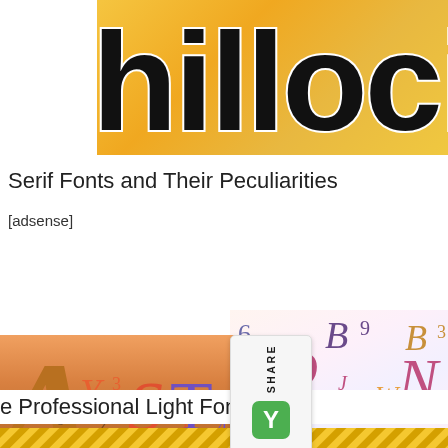[Figure (illustration): Top banner showing partial text in large bold black retro/groovy font style on an orange-yellow gradient background. Letters visible are partial: 'hilloc' or similar portion of a word.]
Serif Fonts and Their Peculiarities
[adsense]
[Figure (illustration): Social share widget with vertical 'SHARE' label and green Y (Yummly?) button, overlaid on colorful decorative image of serif font characters (letters and numbers) in purple, orange, pink, gold on a light background.]
e Professional Light Fonts
[Figure (illustration): Bottom strip of golden/yellow diagonal pattern texture.]